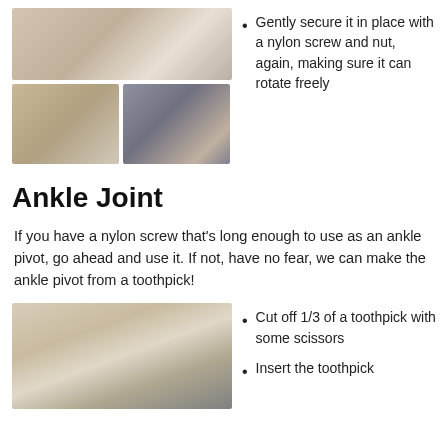[Figure (photo): Three photos showing hands working with nylon screw and nut assembly on wood pieces]
Gently secure it in place with a nylon screw and nut, again, making sure it can rotate freely
Ankle Joint
If you have a nylon screw that's long enough to use as an ankle pivot, go ahead and use it. If not, have no fear, we can make the ankle pivot from a toothpick!
[Figure (photo): Photo showing wooden ankle joint assembly with wheel/pivot attached]
Cut off 1/3 of a toothpick with some scissors
Insert the toothpick